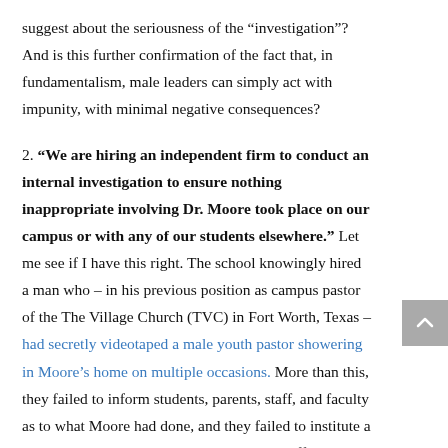suggest about the seriousness of the “investigation”? And is this further confirmation of the fact that, in fundamentalism, male leaders can simply act with impunity, with minimal negative consequences?
2. “We are hiring an independent firm to conduct an internal investigation to ensure nothing inappropriate involving Dr. Moore took place on our campus or with any of our students elsewhere.” Let me see if I have this right. The school knowingly hired a man who – in his previous position as campus pastor of the The Village Church (TVC) in Fort Worth, Texas – had secretly videotaped a male youth pastor showering in Moore’s home on multiple occasions. More than this, they failed to inform students, parents, staff, and faculty as to what Moore had done, and they failed to institute a rigorous protocol to ensure that students, staff, and faculty were protected from a predator they did not know about. And now,